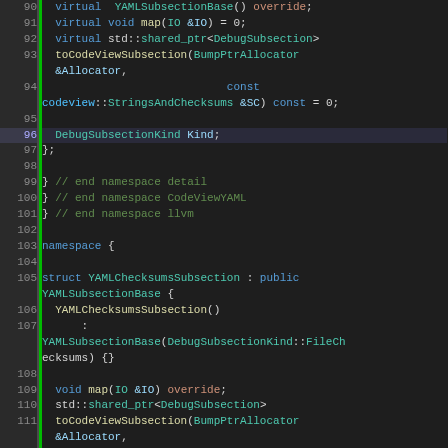[Figure (screenshot): Code editor screenshot showing C++ source code lines 90-113, syntax highlighted with dark background. Lines show virtual methods, namespace closings, struct definition for YAMLChecksumsSubsection, and method declarations.]